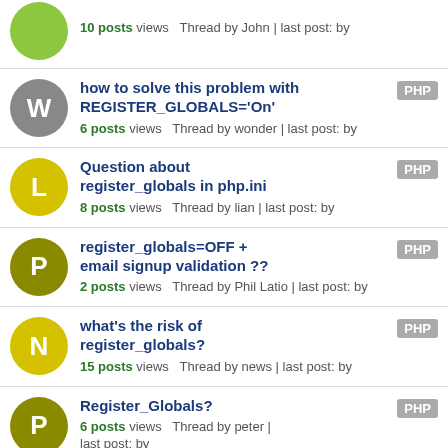10 posts views Thread by John | last post: by
how to solve this problem with REGISTER_GLOBALS='On'
6 posts views Thread by wonder | last post: by PHP
Question about register_globals in php.ini
8 posts views Thread by lian | last post: by PHP
register_globals=OFF + email signup validation ??
2 posts views Thread by Phil Latio | last post: by PHP
what's the risk of register_globals?
15 posts views Thread by news | last post: by PHP
Register_Globals?
6 posts views Thread by peter | last post: by PHP